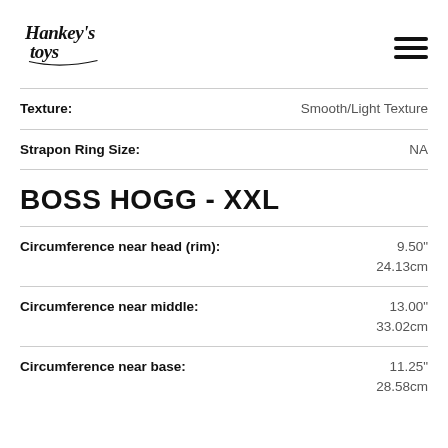[Figure (logo): Hankey's Toys logo in black script/cursive font]
Texture: Smooth/Light Texture
Strapon Ring Size: NA
BOSS HOGG - XXL
Circumference near head (rim): 9.50" 24.13cm
Circumference near middle: 13.00" 33.02cm
Circumference near base: 11.25" 28.58cm